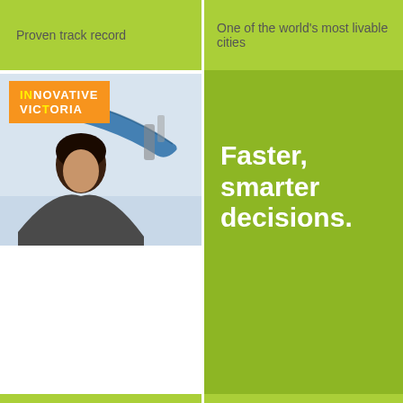Proven track record
One of the world's most livable cities
[Figure (photo): Person working in industrial/lab setting with blue flexible hose, Innovative Victoria logo overlay in orange]
Faster, smarter decisions.
Victorian Research & Development
How we can help
Back to top